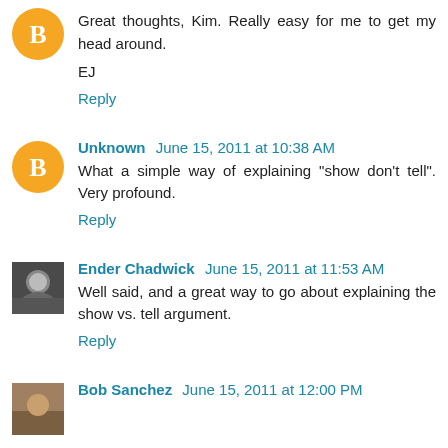Great thoughts, Kim. Really easy for me to get my head around.

EJ
Reply
Unknown June 15, 2011 at 10:38 AM
What a simple way of explaining "show don't tell". Very profound.
Reply
Ender Chadwick June 15, 2011 at 11:53 AM
Well said, and a great way to go about explaining the show vs. tell argument.
Reply
Bob Sanchez June 15, 2011 at 12:00 PM